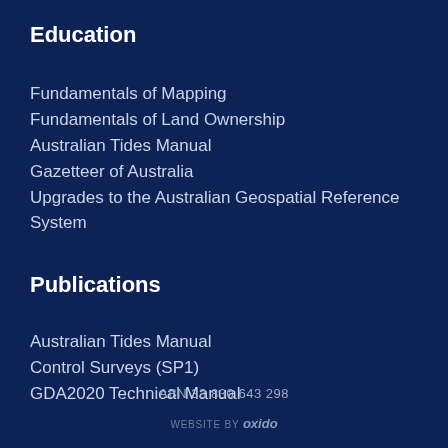Education
Fundamentals of Mapping
Fundamentals of Land Ownership
Australian Tides Manual
Gazetteer of Australia
Upgrades to the Australian Geospatial Reference System
Publications
Australian Tides Manual
Control Surveys (SP1)
GDA2020 Technical Manual
ABN 33 830 643 298
WEBSITE BY oxido